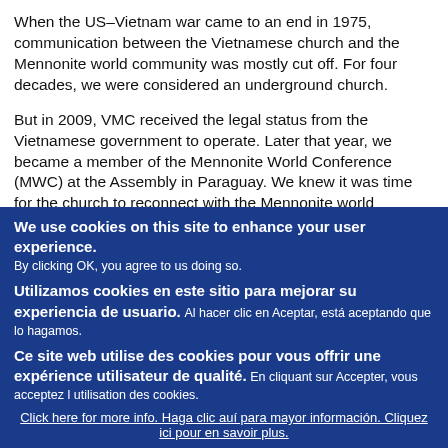When the US–Vietnam war came to an end in 1975, communication between the Vietnamese church and the Mennonite world community was mostly cut off. For four decades, we were considered an underground church.
But in 2009, VMC received the legal status from the Vietnamese government to operate. Later that year, we became a member of the Mennonite World Conference (MWC) at the Assembly in Paraguay. We knew it was time for the church to reconnect with the Mennonite world community.
We use cookies on this site to enhance your user experience. By clicking OK, you agree to us doing so. Utilizamos cookies en este sitio para mejorar su experiencia de usuario. Al hacer clic en Aceptar, está aceptando que lo hagamos. Ce site web utilise des cookies pour vous offrir une expérience utilisateur de qualité. En cliquant sur Accepter, vous acceptez l utilisation des cookies.
Click here for more info. Haga clic auí para mayor información. Cliquez ici pour en savoir plus.